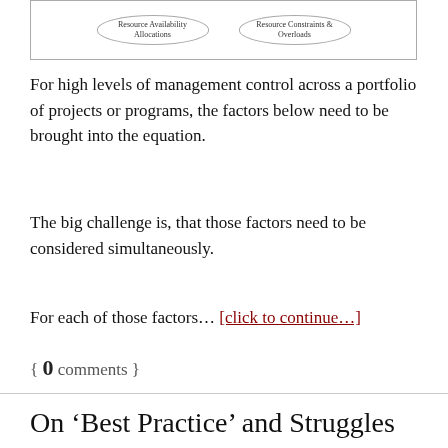[Figure (schematic): Two oval shapes inside a bordered box, labeled 'Resource Availability Allocations' and 'Resource Constraints & Overloads']
For high levels of management control across a portfolio of projects or programs, the factors below need to be brought into the equation.
The big challenge is, that those factors need to be considered simultaneously.
For each of those factors… [click to continue…]
{ 0 comments }
On ‘Best Practice’ and Struggles with Change Management